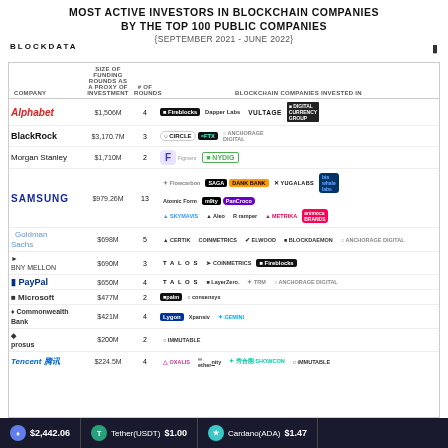MOST ACTIVE INVESTORS IN BLOCKCHAIN COMPANIES BY THE TOP 100 PUBLIC COMPANIES {SEPTEMBER 2021 - JUNE 2022}
[Figure (infographic): Table of most active investors in blockchain companies by top 100 public companies. Companies listed: Alphabet ($1,506M, 4 rounds), BlackRock ($3,170.7M, 3 rounds), Morgan Stanley ($1,710M, 2 rounds), Samsung ($979.26M, 13 rounds), Goldman Sachs ($698M, 5 rounds), BNY Mellon ($690M, 3 rounds), PayPal ($650M, 4 rounds), Microsoft ($477M, 2 rounds), Commonwealth Bank ($421M, 4 rounds), Prosus ($200M, 2 rounds), Tencent ($224.5M, 4 rounds). Each row shows blockchain companies invested in with logos.]
Ethereum $2,442.06   Tether(USDT) $1.00   Cardano(ADA) $1.47